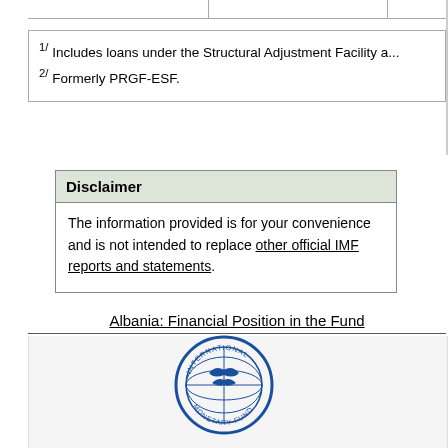1/ Includes loans under the Structural Adjustment Facility a...
2/ Formerly PRGF-ESF.
| Disclaimer |
| --- |
| The information provided is for your convenience and is not intended to replace other official IMF reports and statements. |
Albania: Financial Position in the Fund
[Figure (logo): International Monetary Fund circular logo in blue]